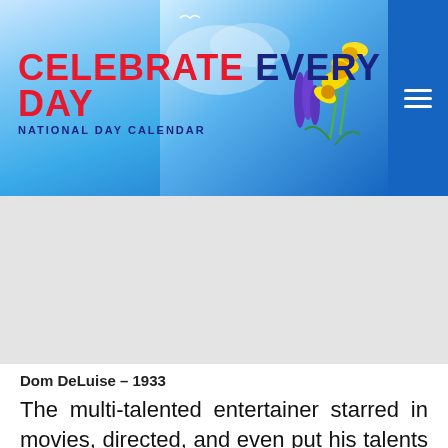CELEBRATE EVERY DAY — NATIONAL DAY CALENDAR
[Figure (screenshot): Website header banner with colorful spring flowers (yellow daffodils, blue muscari) against a bright blue sky, with 'CELEBRATE EVERY DAY / NATIONAL DAY CALENDAR' logo on the left and a hamburger menu icon on the right blue bar]
[Figure (other): Grey advertisement/placeholder area below the header banner]
Dom DeLuise – 1933
The multi-talented entertainer starred in movies, directed, and even put his talents to work in the kitchen as a professional chef.